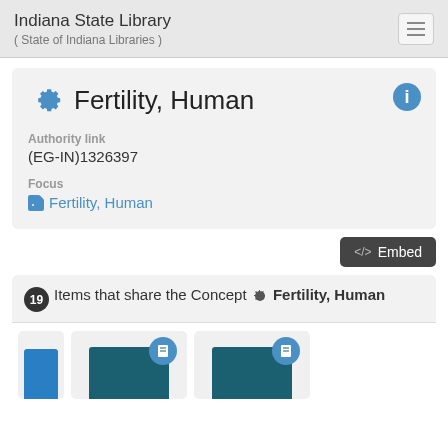Indiana State Library
( State of Indiana Libraries )
Fertility, Human
Authority link
(EG-IN)1326397
Focus
Fertility, Human
</>  Embed
19 Items that share the Concept ⚙ Fertility, Human
[Figure (screenshot): Three partially visible book/item thumbnail cards at the bottom of the page, showing teal book covers with blue circular badge icons.]